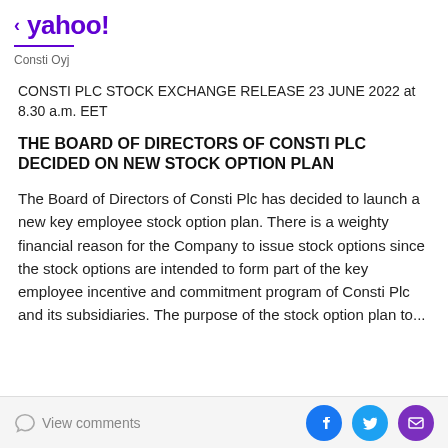< yahoo!
Consti Oyj
CONSTI PLC STOCK EXCHANGE RELEASE 23 JUNE 2022 at 8.30 a.m. EET
THE BOARD OF DIRECTORS OF CONSTI PLC DECIDED ON NEW STOCK OPTION PLAN
The Board of Directors of Consti Plc has decided to launch a new key employee stock option plan. There is a weighty financial reason for the Company to issue stock options since the stock options are intended to form part of the key employee incentive and commitment program of Consti Plc and its subsidiaries. The purpose of the stock option plan...
View comments